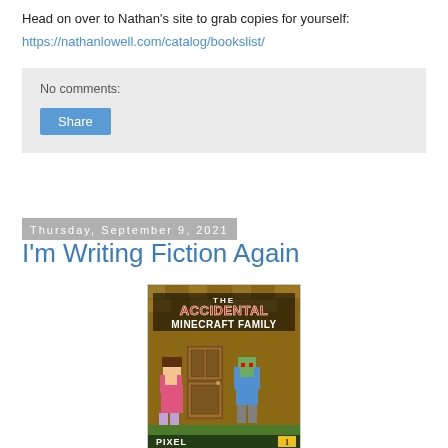Head on over to Nathan's site to grab copies for yourself:
https://nathanlowell.com/catalog/bookslist/
No comments:
Share
Thursday, September 9, 2021
I'm Writing Fiction Again
[Figure (photo): Book cover of 'The Accidental Minecraft Family' showing Minecraft-style characters including a girl in pink and zombie-like figures in front of a wooden door, with cobblestone background. Label reads 'PIXEL' at bottom left.]